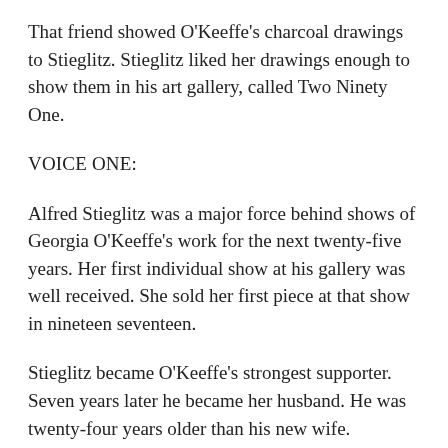That friend showed O'Keeffe's charcoal drawings to Stieglitz. Stieglitz liked her drawings enough to show them in his art gallery, called Two Ninety One.
VOICE ONE:
Alfred Stieglitz was a major force behind shows of Georgia O'Keeffe's work for the next twenty-five years. Her first individual show at his gallery was well received. She sold her first piece at that show in nineteen seventeen.
Stieglitz became O'Keeffe's strongest supporter. Seven years later he became her husband. He was twenty-four years older than his new wife.
The relationship between Georgia O'Keeffe and Alfred